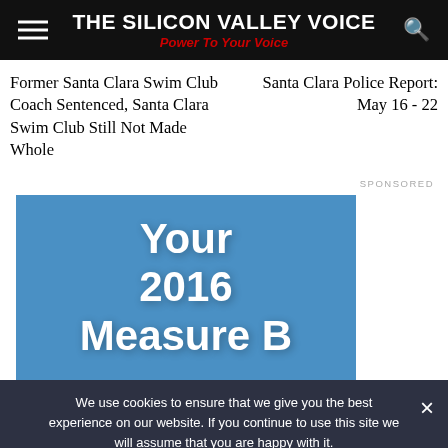THE SILICON VALLEY VOICE — Power To Your Voice
Former Santa Clara Swim Club Coach Sentenced, Santa Clara Swim Club Still Not Made Whole
Santa Clara Police Report: May 16 - 22
SPONSORED
[Figure (illustration): Blue banner advertisement with white bold text reading 'Your 2016 Measure B']
We use cookies to ensure that we give you the best experience on our website. If you continue to use this site we will assume that you are happy with it. Ok